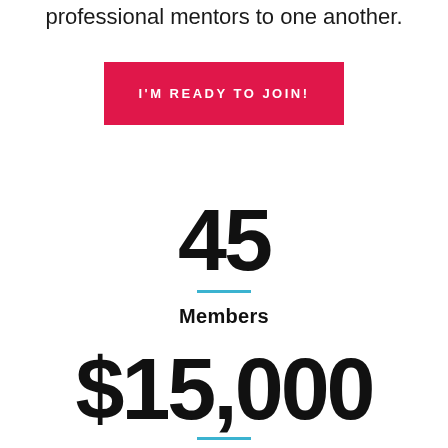professional mentors to one another.
I'M READY TO JOIN!
45
Members
$15,000